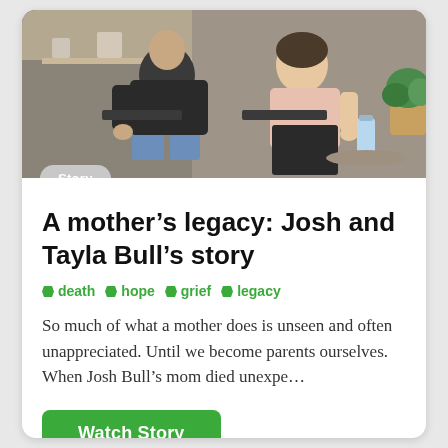[Figure (photo): Two people sitting on chairs in a cozy indoor setting — a man in a dark jacket and jeans, and a woman in a light pink top, with shelves and a plant in the background.]
A mother's legacy: Josh and Tayla Bull's story
death  hope  grief  legacy
So much of what a mother does is unseen and often unappreciated. Until we become parents ourselves. When Josh Bull's mom died unexpe...
Watch Story